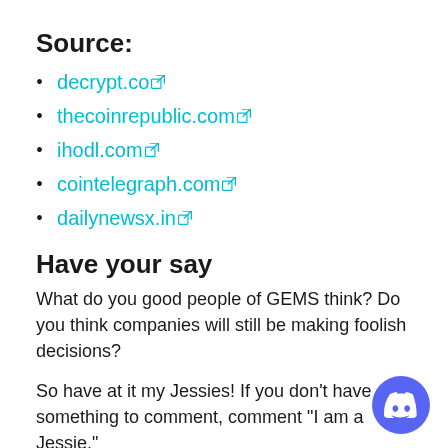Source:
decrypt.co
thecoinrepublic.com
ihodl.com
cointelegraph.com
dailynewsx.in
Have your say
What do you good people of GEMS think? Do you think companies will still be making foolish decisions?
So have at it my Jessies! If you don't have something to comment, comment "I am a Jessie."